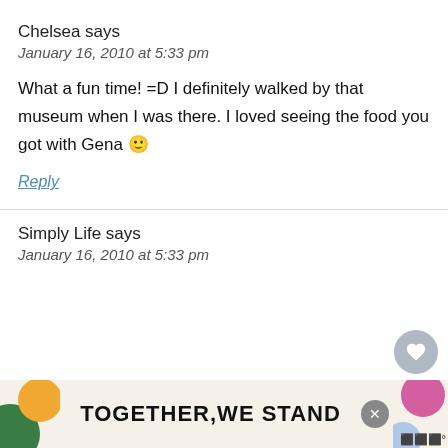Chelsea says
January 16, 2010 at 5:33 pm
What a fun time! =D I definitely walked by that museum when I was there. I loved seeing the food you got with Gena 🙂
Reply
Simply Life says
January 16, 2010 at 5:33 pm
[Figure (other): Advertisement banner: TOGETHER,WE STAND with colorful shapes]
[Figure (other): Floating heart and share circle buttons on right side]
[Figure (other): What's Next widget showing A Naptime Circuit... with thumbnail]